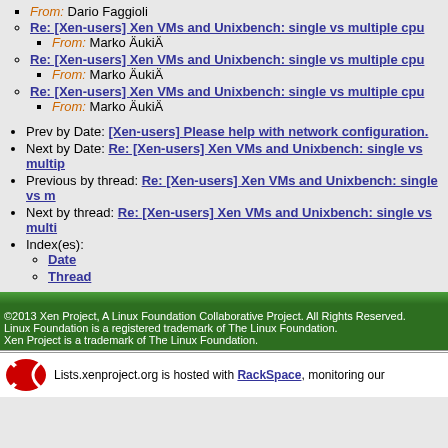From: Dario Faggioli
Re: [Xen-users] Xen VMs and Unixbench: single vs multiple cpu
From: Marko ÄukiÄ
Re: [Xen-users] Xen VMs and Unixbench: single vs multiple cpu
From: Marko ÄukiÄ
Re: [Xen-users] Xen VMs and Unixbench: single vs multiple cpu
From: Marko ÄukiÄ
Prev by Date: [Xen-users] Please help with network configuration.
Next by Date: Re: [Xen-users] Xen VMs and Unixbench: single vs multiple cpu
Previous by thread: Re: [Xen-users] Xen VMs and Unixbench: single vs m
Next by thread: Re: [Xen-users] Xen VMs and Unixbench: single vs multi
Index(es):
Date
Thread
©2013 Xen Project, A Linux Foundation Collaborative Project. All Rights Reserved. Linux Foundation is a registered trademark of The Linux Foundation. Xen Project is a trademark of The Linux Foundation.
Lists.xenproject.org is hosted with RackSpace, monitoring our